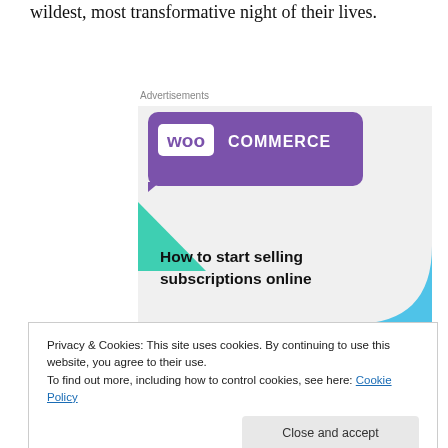wildest, most transformative night of their lives.
Advertisements
[Figure (screenshot): WooCommerce advertisement banner with purple header containing the WooCommerce logo, green triangle accent, blue quarter-circle accent, and text reading 'How to start selling subscriptions online' on a light grey background.]
Privacy & Cookies: This site uses cookies. By continuing to use this website, you agree to their use.
To find out more, including how to control cookies, see here: Cookie Policy
[Close and accept]
storylines evoke a complex world full of unseen forces